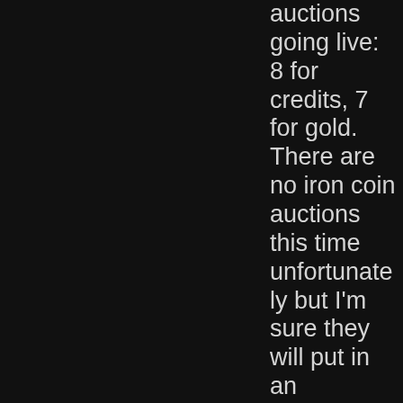auctions going live: 8 for credits, 7 for gold. There are no iron coin auctions this time unfortunately but I'm sure they will put in an appearance in the future. My plan going forward